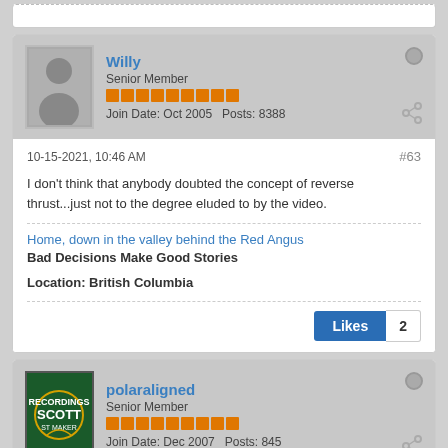Willy
Senior Member
Join Date: Oct 2005  Posts: 8388
10-15-2021, 10:46 AM
#63
I don't think that anybody doubted the concept of reverse thrust...just not to the degree eluded to by the video.
Home, down in the valley behind the Red Angus
Bad Decisions Make Good Stories
Location: British Columbia
Likes 2
polaraligned
Senior Member
Join Date: Dec 2007  Posts: 845